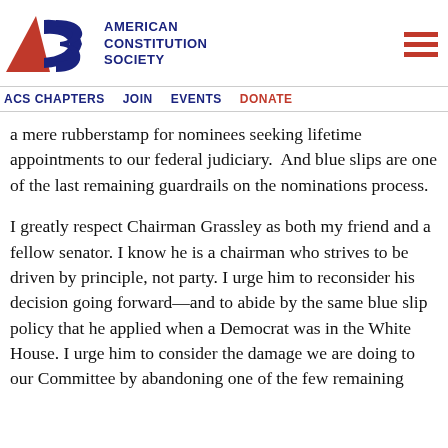American Constitution Society — ACS CHAPTERS | JOIN | EVENTS | DONATE
a mere rubberstamp for nominees seeking lifetime appointments to our federal judiciary.  And blue slips are one of the last remaining guardrails on the nominations process.
I greatly respect Chairman Grassley as both my friend and a fellow senator. I know he is a chairman who strives to be driven by principle, not party. I urge him to reconsider his decision going forward—and to abide by the same blue slip policy that he applied when a Democrat was in the White House. I urge him to consider the damage we are doing to our Committee by abandoning one of the few remaining